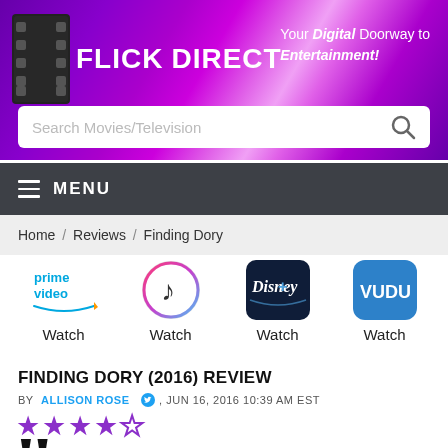FLICK DIRECT — Your Digital Doorway to Entertainment!
[Figure (screenshot): Search bar with placeholder text 'Search Movies/Television' and a magnifying glass icon]
MENU
Home / Reviews / Finding Dory
[Figure (logo): Streaming service logos: Prime Video, iTunes/Apple Music, Disney+, Vudu — each with 'Watch' label below]
FINDING DORY (2016) REVIEW
BY ALLISON ROSE, JUN 16, 2016 10:39 AM EST
[Figure (other): 4 out of 5 stars rating in purple]
“